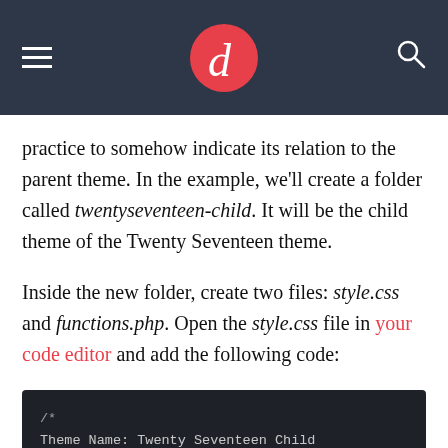d [logo]
practice to somehow indicate its relation to the parent theme. In the example, we'll create a folder called twentyseventeen-child. It will be the child theme of the Twenty Seventeen theme.
Inside the new folder, create two files: style.css and functions.php. Open the style.css file in your code editor and add the following code: